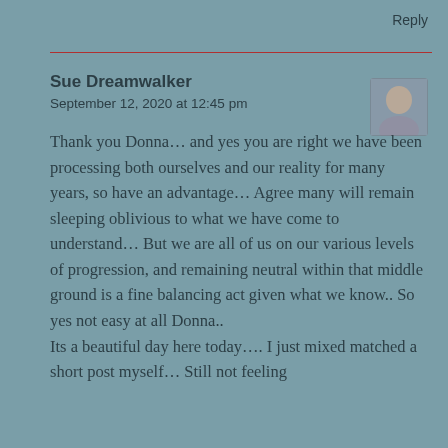Reply
Sue Dreamwalker
September 12, 2020 at 12:45 pm
[Figure (photo): Small circular/rounded avatar photo of Sue Dreamwalker]
Thank you Donna… and yes you are right we have been processing both ourselves and our reality for many years, so have an advantage… Agree many will remain sleeping oblivious to what we have come to understand… But we are all of us on our various levels of progression, and remaining neutral within that middle ground is a fine balancing act given what we know.. So yes not easy at all Donna..
Its a beautiful day here today…. I just mixed matched a short post myself… Still not feeling